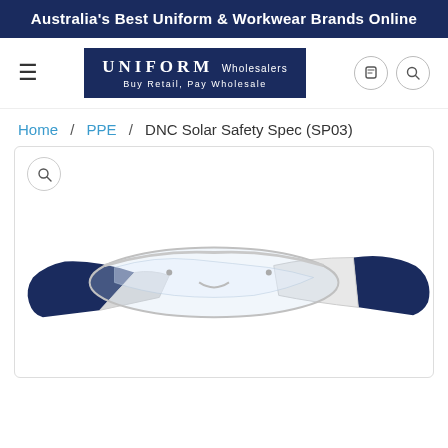Australia's Best Uniform & Workwear Brands Online
[Figure (logo): Uniform Wholesalers logo — navy blue box with 'UNIFORM Wholesalers / Buy Retail, Pay Wholesale']
Home / PPE / DNC Solar Safety Spec (SP03)
[Figure (photo): DNC Solar Safety Spec (SP03) — safety glasses with clear lenses and navy blue temple tips, side view on white background]